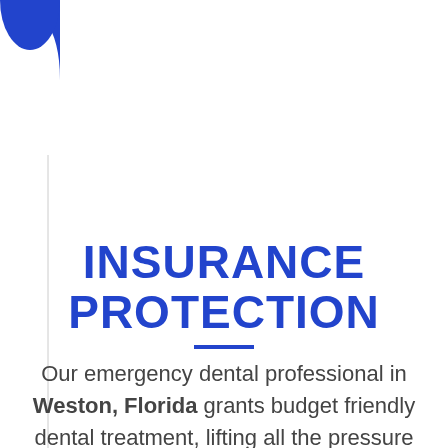[Figure (illustration): Blue decorative arc shape in the top-left corner of the page, with a vertical gray line extending down the left side]
INSURANCE PROTECTION
Our emergency dental professional in Weston, Florida grants budget friendly dental treatment, lifting all the pressure off you and making things easy to discover a dentist for your